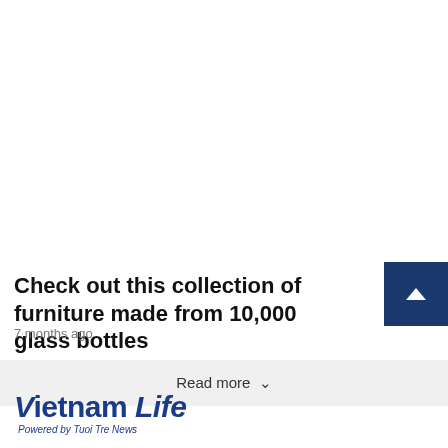[Figure (other): White blank area at top of page (image placeholder)]
Check out this collection of furniture made from 10,000 glass bottles
7 months ago
Read more
[Figure (logo): Vietnam Life logo — Powered by Tuoi Tre News]